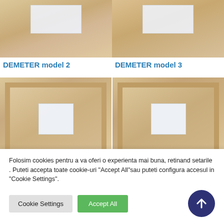[Figure (photo): DEMETER model 2 door image - wooden door with glass panel at top]
[Figure (photo): DEMETER model 3 door image - wooden door with glass panel at top]
DEMETER model 2
DEMETER model 3
[Figure (photo): Bottom door model image - wooden panel door with small centered glass]
[Figure (photo): Bottom door model image - wooden panel door with small centered glass]
Folosim cookies pentru a va oferi o experienta mai buna, retinand setarile . Puteti accepta toate cookie-uri "Accept All"sau puteti configura accesul in "Cookie Settings".
Cookie Settings
Accept All